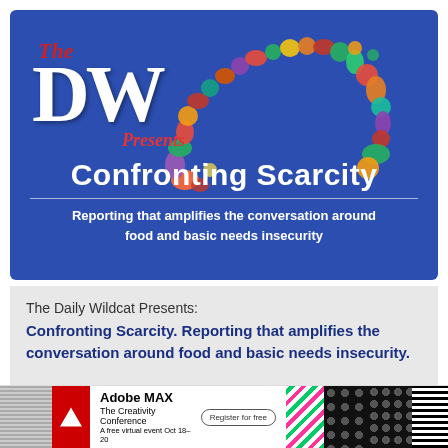[Figure (illustration): Blue banner with 'The DW Presents Confronting Scarcity' text, white large DW letters, red script 'The' and 'Presents', bold white title 'Confronting Scarcity', and an arc of colorful fruit/vegetable illustrations across the top]
The Daily Wildcat Presents:
Confronting Scarcity. Reporting that amplifies the conversation around food and basic needs insecurity.
[Figure (illustration): Adobe MAX The Creativity Conference advertisement banner with Adobe logo, register button, and colorful graphic patterns]